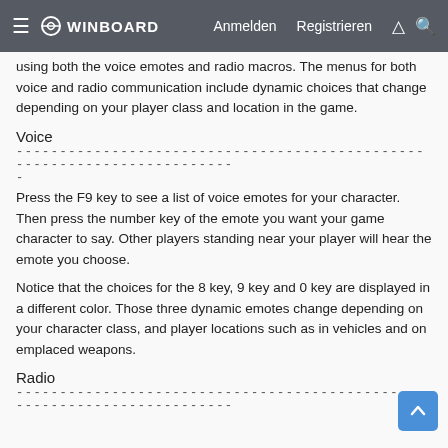≡ WINBOARD  Anmelden  Registrieren  ⚡  🔍
using both the voice emotes and radio macros. The menus for both voice and radio communication include dynamic choices that change depending on your player class and location in the game.
Voice
------------------------------------------------------------------------
-
Press the F9 key to see a list of voice emotes for your character. Then press the number key of the emote you want your game character to say. Other players standing near your player will hear the emote you choose.
Notice that the choices for the 8 key, 9 key and 0 key are displayed in a different color. Those three dynamic emotes change depending on your character class, and player locations such as in vehicles and on emplaced weapons.
Radio
------------------------------------------------------------------------